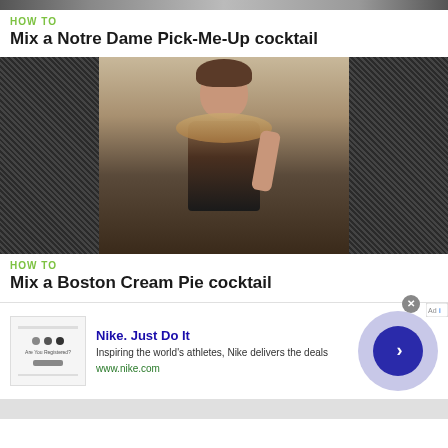HOW TO
Mix a Notre Dame Pick-Me-Up cocktail
[Figure (photo): Thumbnail image of a person taking a selfie in a mirror, wearing a black top with fur collar, with blinds visible in the background. Dark patterned borders on left and right sides.]
HOW TO
Mix a Boston Cream Pie cocktail
[Figure (screenshot): Advertisement for Nike. Just Do It. Shows a Nike webpage screenshot thumbnail on the left, ad text in center reading 'Nike. Just Do It - Inspiring the world's athletes, Nike delivers the deals - www.nike.com', and a blue circular arrow button on the right. Close button (x) visible at top.]